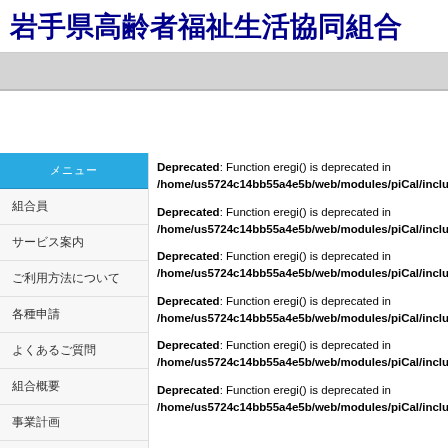岩手県高齢者福祉生活協同組合
[Figure (screenshot): Gray navigation bar / banner area]
メニュー (sidebar navigation header, blue)
組合員
サービス案内
ご利用方法について
各種申請
よくあるご質問
組合概要
事業計画
お知らせ
カレンダー (orange sidebar header)
カレンダー:
Deprecated: Function eregi() is deprecated in /home/us5724c14bb55a4e5b/web/modules/piCal/include/patTe
Deprecated: Function eregi() is deprecated in /home/us5724c14bb55a4e5b/web/modules/piCal/include/patTe
Deprecated: Function eregi() is deprecated in /home/us5724c14bb55a4e5b/web/modules/piCal/include/patTe
Deprecated: Function eregi() is deprecated in /home/us5724c14bb55a4e5b/web/modules/piCal/include/patTe
Deprecated: Function eregi() is deprecated in /home/us5724c14bb55a4e5b/web/modules/piCal/include/patTe
Deprecated: Function eregi() is deprecated in /home/us5724c14bb55a4e5b/web/modules/piCal/include/patTe